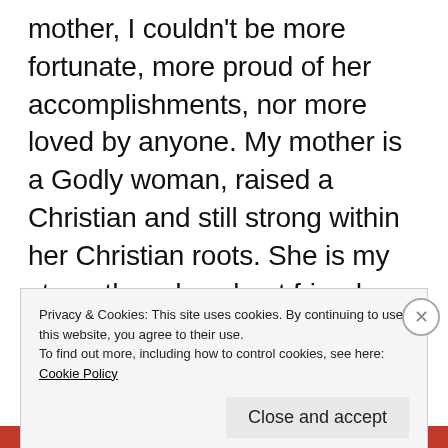mother, I couldn't be more fortunate, more proud of her accomplishments, nor more loved by anyone. My mother is a Godly woman, raised a Christian and still strong within her Christian roots. She is my strength and my best friend.

I started thinking this morning about my Granny, my mother's mom, and I put myself in my mother's shoes. My granny died shortly
Privacy & Cookies: This site uses cookies. By continuing to use this website, you agree to their use.
To find out more, including how to control cookies, see here: Cookie Policy
Close and accept